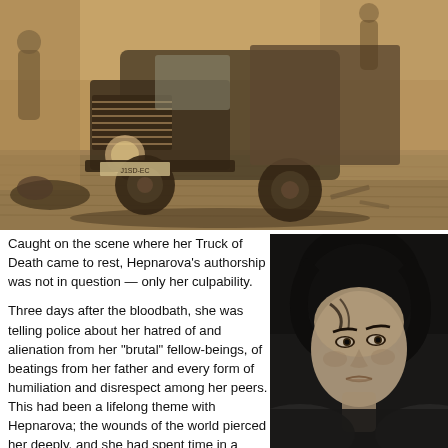[Figure (photo): Sepia-toned historical photograph of a truck (the 'Truck of Death') crashed or stopped on a cobblestone street, with a body visible on the ground to the left side of the truck. People visible in background.]
Caught on the scene where her Truck of Death came to rest, Hepnarova's authorship was not in question — only her culpability.
Three days after the bloodbath, she was telling police about her hatred of and alienation from her "brutal" fellow-beings, of beatings from her father and every form of humiliation and disrespect among her peers. This had been a lifelong theme with Hepnarova; the wounds of the world pierced her deeply, and she had spent time in a psychiatric institution after a teenage suicide attempt. In her short working life, she'd been unable to hold down any job for long. Truly
[Figure (photo): Black and white portrait photograph of Olga Hepnarova, a young woman with short dark hair, looking to the side with a serious expression.]